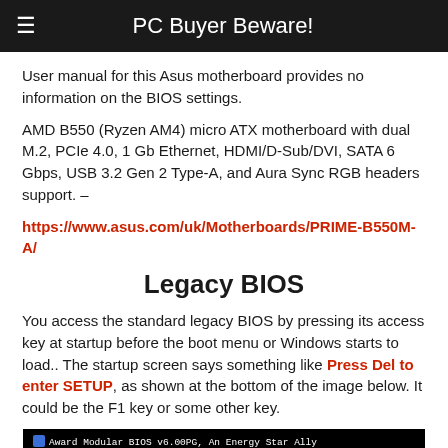PC Buyer Beware!
User manual for this Asus motherboard provides no information on the BIOS settings.
AMD B550 (Ryzen AM4) micro ATX motherboard with dual M.2, PCIe 4.0, 1 Gb Ethernet, HDMI/D-Sub/DVI, SATA 6 Gbps, USB 3.2 Gen 2 Type-A, and Aura Sync RGB headers support. –
https://www.asus.com/uk/Motherboards/PRIME-B550M-A/
Legacy BIOS
You access the standard legacy BIOS by pressing its access key at startup before the boot menu or Windows starts to load.. The startup screen says something like Press Del to enter SETUP, as shown at the bottom of the image below. It could be the F1 key or some other key.
[Figure (screenshot): Black BIOS startup screen showing Award Modular BIOS v6.00PG, An Energy Star Ally, Copyright (C) 1984-2001, Award Software, Inc., 06/19/2002 For KT-333 DDR Chipset]